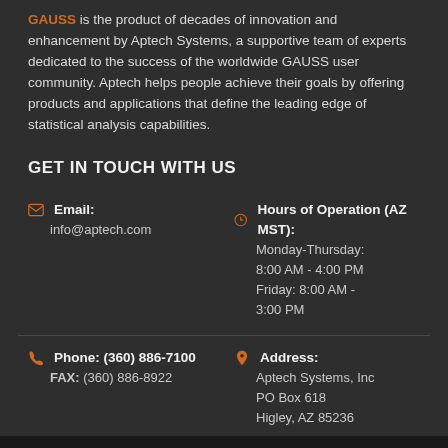GAUSS is the product of decades of innovation and enhancement by Aptech Systems, a supportive team of experts dedicated to the success of the worldwide GAUSS user community. Aptech helps people achieve their goals by offering products and applications that define the leading edge of statistical analysis capabilities.
GET IN TOUCH WITH US
Email: info@aptech.com
Hours of Operation (AZ MST): Monday-Thursday: 8:00 AM - 4:00 PM Friday: 8:00 AM - 3:00 PM
Phone: (360) 886-7100 FAX: (360) 886-8922
Address: Aptech Systems, Inc PO Box 618 Higley, AZ 85236